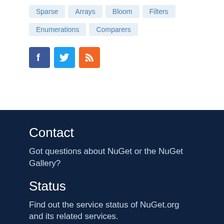Sparse
Arrays
Bloom
Filters
Enumerations
Comparers
[Figure (logo): Facebook, Twitter, and RSS social media icons]
Contact
Got questions about NuGet or the NuGet Gallery?
Status
Find out the service status of NuGet.org and its related services.